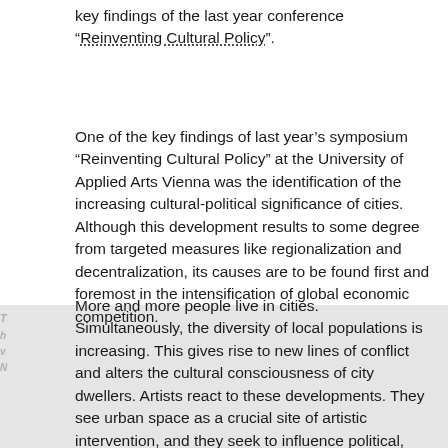key findings of the last year conference “Reinventing Cultural Policy”.
One of the key findings of last year’s symposium “Reinventing Cultural Policy” at the University of Applied Arts Vienna was the identification of the increasing cultural-political significance of cities. Although this development results to some degree from targeted measures like regionalization and decentralization, its causes are to be found first and foremost in the intensification of global economic competition.
More and more people live in cities. Simultaneously, the diversity of local populations is increasing. This gives rise to new lines of conflict and alters the cultural consciousness of city dwellers. Artists react to these developments. They see urban space as a crucial site of artistic intervention, and they seek to influence political, social and cultural development in the city. In the process they demonstrate that they themselves are cultural-political agents within the field of tension between political and civil activism.